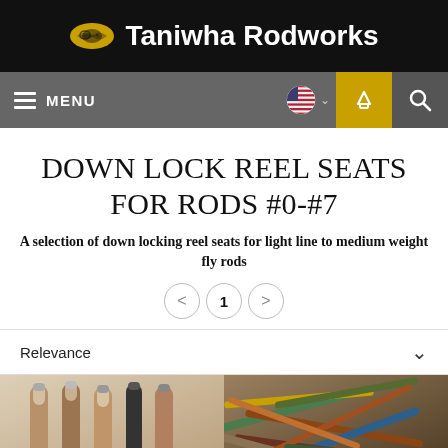Taniwha Rodworks
DOWN LOCK REEL SEATS FOR RODS #0-#7
A selection of down locking reel seats for light line to medium weight fly rods
1
Relevance
[Figure (photo): Photo of multiple fly rod handles/reel seats with cork grips standing upright]
[Figure (photo): Photo of a pile of colorful fly fishing rods]